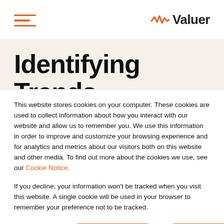[Figure (logo): Valuer logo with orange waveform icon and dark text 'Valuer']
Identifying Trends and Opportunities
This website stores cookies on your computer. These cookies are used to collect information about how you interact with our website and allow us to remember you. We use this information in order to improve and customize your browsing experience and for analytics and metrics about our visitors both on this website and other media. To find out more about the cookies we use, see our Cookie Notice.
If you decline, your information won't be tracked when you visit this website. A single cookie will be used in your browser to remember your preference not to be tracked.
More options | Accept cookies | Decline cookies